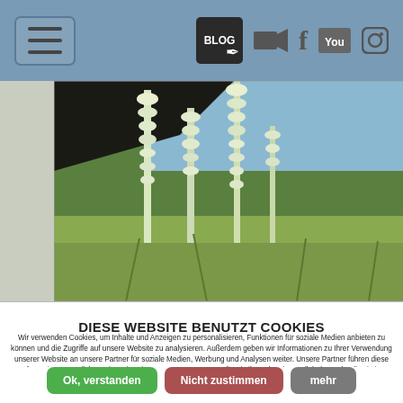Navigation bar with hamburger menu and social icons (Blog, video, Facebook, YouTube, Instagram)
[Figure (photo): Photograph of tall white flowering plants (foxglove/digitalis) in a meadow with a wooden structure and forest in the background]
DIESE WEBSITE BENUTZT COOKIES
Wir verwenden Cookies, um Inhalte und Anzeigen zu personalisieren, Funktionen für soziale Medien anbieten zu können und die Zugriffe auf unsere Website zu analysieren. Außerdem geben wir Informationen zu Ihrer Verwendung unserer Website an unsere Partner für soziale Medien, Werbung und Analysen weiter. Unsere Partner führen diese Informationen möglicherweise mit weiteren Daten zusammen, die Sie ihnen bereitgestellt haben oder die sie im Rahmen Ihrer Nutzung der Dienste gesammelt haben. Weitere Informationen zu Cookies erhalten Sie in unseren Datenschutzhinweisen.
Ok, verstanden
Nicht zustimmen
mehr